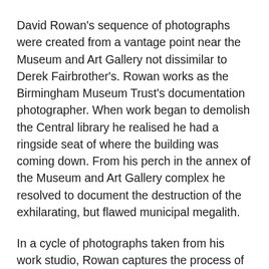David Rowan's sequence of photographs were created from a vantage point near the Museum and Art Gallery not dissimilar to Derek Fairbrother's. Rowan works as the Birmingham Museum Trust's documentation photographer. When work began to demolish the Central library he realised he had a ringside seat of where the building was coming down. From his perch in the annex of the Museum and Art Gallery complex he resolved to document the destruction of the exhilarating, but flawed municipal megalith.
In a cycle of photographs taken from his work studio, Rowan captures the process of the building coming down, and the beginning of work on the Paradise office blocks which have replaced it. These wide images of work on the site are interspersed with frames that capture the demolition and construction work from different angles, as well as close-ups of the texture of the work place.